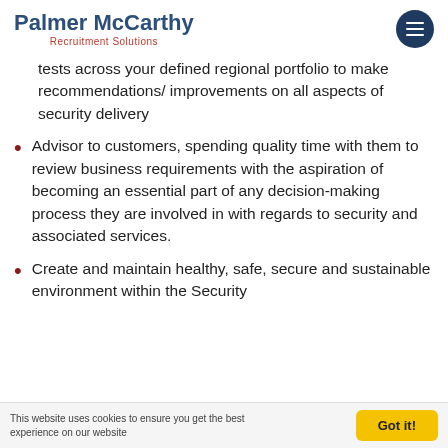Palmer McCarthy Recruitment Solutions
tests across your defined regional portfolio to make recommendations/ improvements on all aspects of security delivery
Advisor to customers, spending quality time with them to review business requirements with the aspiration of becoming an essential part of any decision-making process they are involved in with regards to security and associated services.
Create and maintain healthy, safe, secure and sustainable environment within the Security
This website uses cookies to ensure you get the best experience on our website